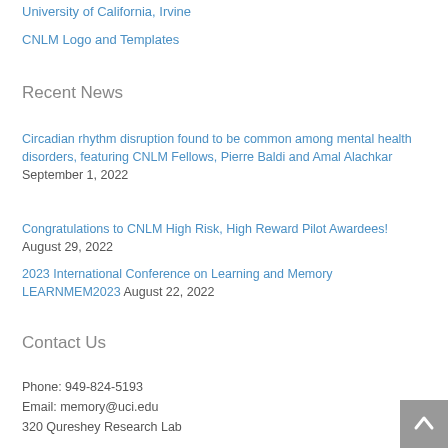University of California, Irvine
CNLM Logo and Templates
Recent News
Circadian rhythm disruption found to be common among mental health disorders, featuring CNLM Fellows, Pierre Baldi and Amal Alachkar September 1, 2022
Congratulations to CNLM High Risk, High Reward Pilot Awardees! August 29, 2022
2023 International Conference on Learning and Memory LEARNMEM2023 August 22, 2022
Contact Us
Phone: 949-824-5193
Email: memory@uci.edu
320 Qureshey Research Lab